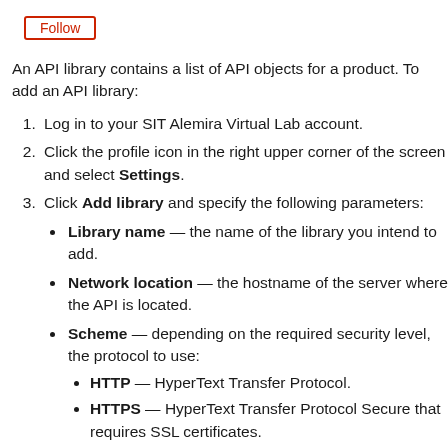Follow
An API library contains a list of API objects for a product. To add an API library:
1. Log in to your SIT Alemira Virtual Lab account.
2. Click the profile icon in the right upper corner of the screen and select Settings.
3. Click Add library and specify the following parameters:
Library name — the name of the library you intend to add.
Network location — the hostname of the server where the API is located.
Scheme — depending on the required security level, the protocol to use:
HTTP — HyperText Transfer Protocol.
HTTPS — HyperText Transfer Protocol Secure that requires SSL certificates.